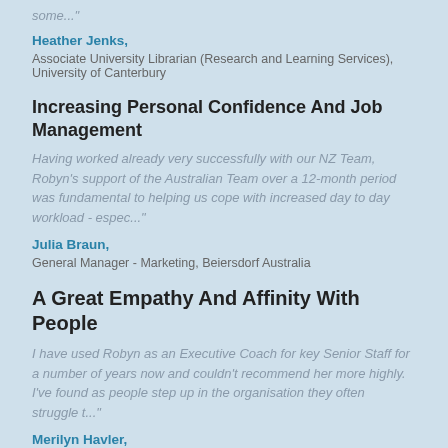some..."
Heather Jenks,
Associate University Librarian (Research and Learning Services), University of Canterbury
Increasing Personal Confidence And Job Management
Having worked already very successfully with our NZ Team, Robyn's support of the Australian Team over a 12-month period was fundamental to helping us cope with increased day to day workload - espec..."
Julia Braun,
General Manager - Marketing, Beiersdorf Australia
A Great Empathy And Affinity With People
I have used Robyn as an Executive Coach for key Senior Staff for a number of years now and couldn't recommend her more highly. I've found as people step up in the organisation they often struggle t..."
Merilyn Havler,
Then General Manager, Beiersdorf New Zealand